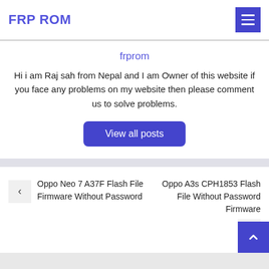FRP ROM
frprom
Hi i am Raj sah from Nepal and I am Owner of this website if you face any problems on my website then please comment us to solve problems.
View all posts
Oppo Neo 7 A37F Flash File Firmware Without Password
Oppo A3s CPH1853 Flash File Without Password Firmware